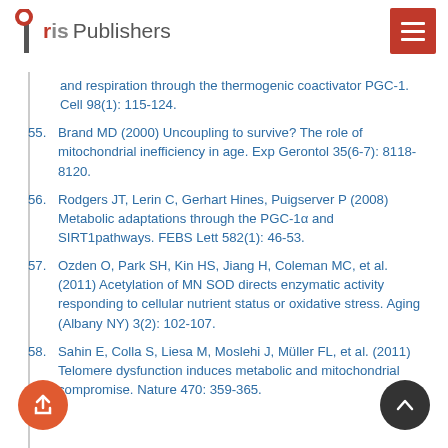Iris Publishers
and respiration through the thermogenic coactivator PGC-1. Cell 98(1): 115-124.
55. Brand MD (2000) Uncoupling to survive? The role of mitochondrial inefficiency in age. Exp Gerontol 35(6-7): 8118-8120.
56. Rodgers JT, Lerin C, Gerhart Hines, Puigserver P (2008) Metabolic adaptations through the PGC-1α and SIRT1pathways. FEBS Lett 582(1): 46-53.
57. Ozden O, Park SH, Kin HS, Jiang H, Coleman MC, et al. (2011) Acetylation of MN SOD directs enzymatic activity responding to cellular nutrient status or oxidative stress. Aging (Albany NY) 3(2): 102-107.
58. Sahin E, Colla S, Liesa M, Moslehi J, Müller FL, et al. (2011) Telomere dysfunction induces metabolic and mitochondrial compromise. Nature 470: 359-365.